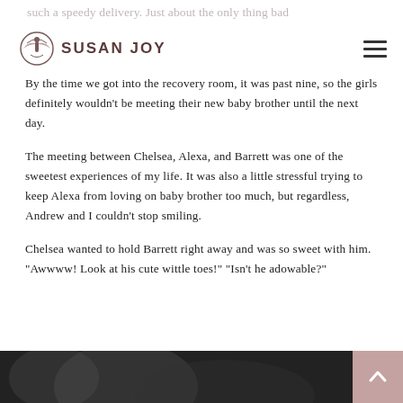such a speedy delivery. Just about the only thing bad about quick deliveries.
SUSAN JOY
By the time we got into the recovery room, it was past nine, so the girls definitely wouldn't be meeting their new baby brother until the next day.
The meeting between Chelsea, Alexa, and Barrett was one of the sweetest experiences of my life. It was also a little stressful trying to keep Alexa from loving on baby brother too much, but regardless, Andrew and I couldn't stop smiling.
Chelsea wanted to hold Barrett right away and was so sweet with him. "Awwww! Look at his cute wittle toes!" "Isn't he adowable?"
[Figure (photo): Black and white photo at the bottom of the page, partially visible]